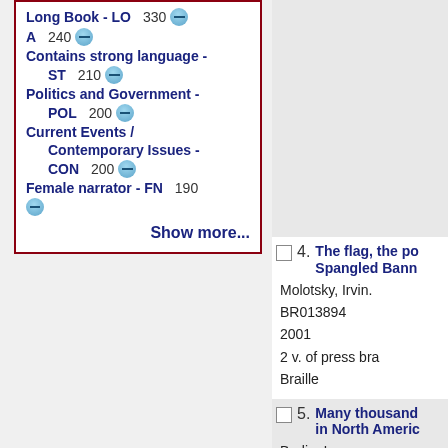Long Book - LO 330
A 240
Contains strong language - ST 210
Politics and Government - POL 200
Current Events / Contemporary Issues - CON 200
Female narrator - FN 190
Show more...
4. The flag, the po... Spangled Bann...
Molotsky, Irvin.
BR013894
2001
2 v. of press bra...
Braille
5. Many thousand... in North Americ...
Berlin, Ira.
BR014699
1998
6 v. of press bra...
Braille